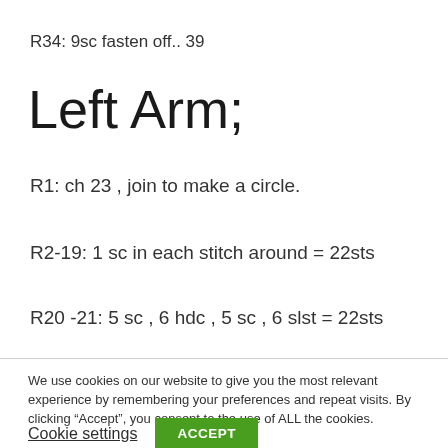R34: 9sc fasten off.. 39
Left Arm;
R1: ch 23 , join to make a circle.
R2-19: 1 sc in each stitch around = 22sts
R20 -21: 5 sc , 6 hdc , 5 sc , 6 slst = 22sts
We use cookies on our website to give you the most relevant experience by remembering your preferences and repeat visits. By clicking “Accept”, you consent to the use of ALL the cookies.
Cookie settings
ACCEPT